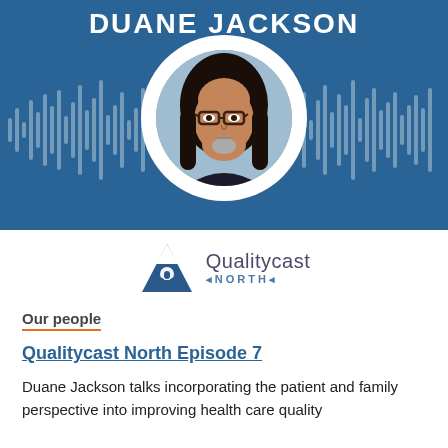DUANE JACKSON
[Figure (photo): Podcast banner with blue background, sound waveform graphic, and circular portrait photo of Duane Jackson, a man with long dark hair, glasses, and a goatee]
[Figure (logo): Qualitycast North logo: blue mountain triangle with microphone icon, text 'Qualitycast' and 'NORTH']
Our people
Qualitycast North Episode 7
Duane Jackson talks incorporating the patient and family perspective into improving health care quality